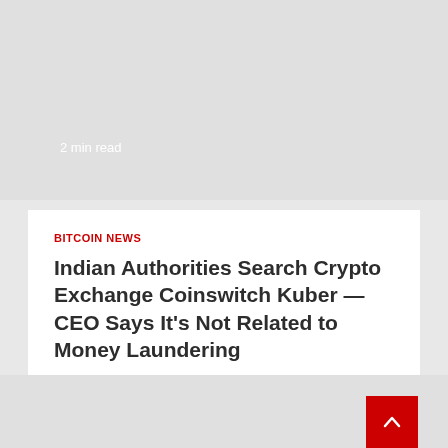2 min read
BITCOIN NEWS
Indian Authorities Search Crypto Exchange Coinswitch Kuber — CEO Says It's Not Related to Money Laundering
Kevin Helms   1 day ago